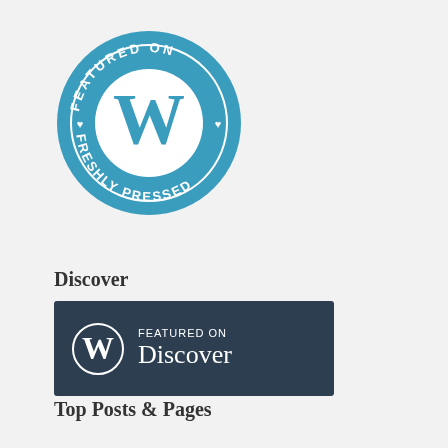[Figure (logo): WordPress 'Featured on Freshly Pressed' circular badge in teal/blue with white WordPress W logo in center, text reading FEATURED ON around the top and FRESHLY PRESSED around the bottom, with small heart symbols on the sides]
Discover
[Figure (logo): Dark navy rectangular badge with white WordPress W logo on left and text 'FEATURED ON Discover' on the right]
Top Posts & Pages